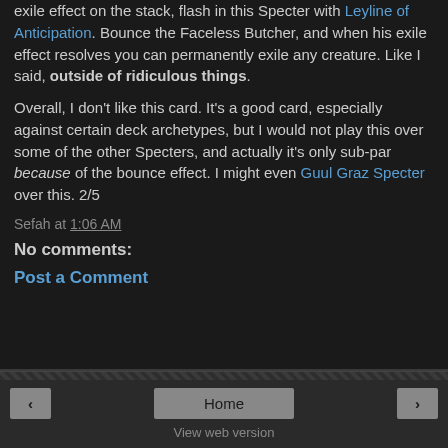exile effect on the stack, flash in this Specter with Leyline of Anticipation. Bounce the Faceless Butcher, and when his exile effect resolves you can permanently exile any creature. Like I said, outside of ridiculous things.
Overall, I don't like this card. It's a good card, especially against certain deck archetypes, but I would not play this over some of the other Specters, and actually it's only sub-par because of the bounce effect. I might even Guul Graz Specter over this. 2/5
Sefah at 1:06 AM
No comments:
Post a Comment
< Home > View web version